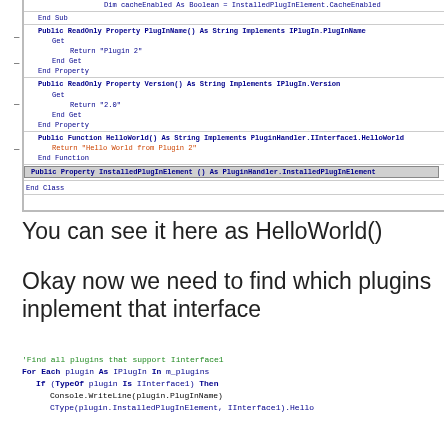[Figure (screenshot): VB.NET code snippet showing class definition with PlugInName, Version, HelloWorld, and InstalledPlugInElement properties]
You can see it here as HelloWorld()
Okay now we need to find which plugins inplement that interface
[Figure (screenshot): VB.NET code snippet: 'Find all plugins that support Iinterface1, For Each plugin As IPlugIn In m_plugins, If (TypeOf plugin Is IInterface1) Then, Console.WriteLine(plugin.PlugInName), ...']